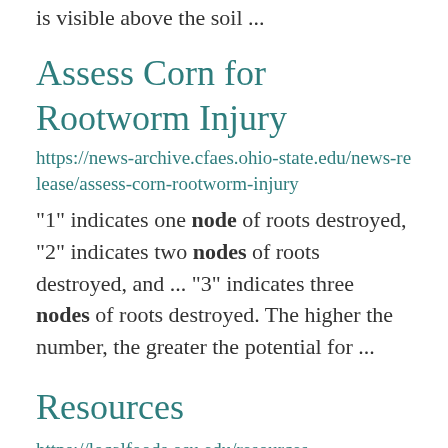is visible above the soil ...
Assess Corn for Rootworm Injury
https://news-archive.cfaes.ohio-state.edu/news-release/assess-corn-rootworm-injury
"1" indicates one node of roots destroyed, "2" indicates two nodes of roots destroyed, and ... "3" indicates three nodes of roots destroyed. The higher the number, the greater the potential for ...
Resources
https://localfoods.osu.edu/resources
http://www.scoop.it/t/community-food-systems Community, Local & Regional Food Systems - Xtension: Co Pu...